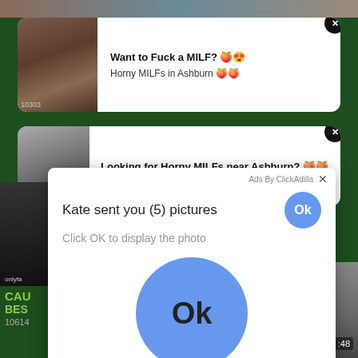[Figure (screenshot): Screenshot of a webpage showing adult advertisement overlays and a popup dialog. Top ad card reads 'Want to Fuck a MILF?' with subtext 'Horny MILFs in Ashburn'. Second ad card reads 'Looking for Horny MILFs near Ashburn?'. A popup dialog from ClickAdilla says 'Kate sent you (5) pictures' with 'Click OK to display the photo' and two OK buttons.]
Want to Fuck a MILF? 🍑😍
Horny MILFs in Ashburn 🍑🍑
Looking for Horny MILFs near Ashburn? 🍑🍑
Ads By ClickAdilla
Kate sent you (5) pictures
Click OK to display the photo
Ok
Ok
a1h
onlyfa
CAU
BES
10614
10303
:48